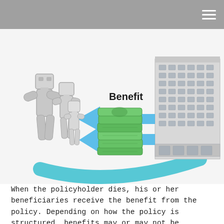[Figure (infographic): Insurance benefit infographic showing stick-figure family on the left, a stack of green money bills in the center with the label 'Benefit', blue arrows pointing from a corporate office building on the right toward the family on the left, and a teal/blue swoosh arc along the bottom connecting the building to the family figures.]
When the policyholder dies, his or her beneficiaries receive the benefit from the policy. Depending on how the policy is structured, benefits may or may not be taxable.